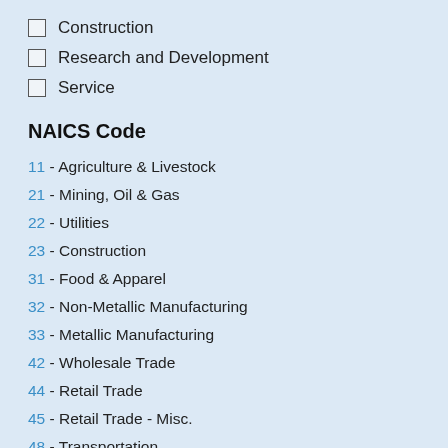Construction
Research and Development
Service
NAICS Code
11 - Agriculture & Livestock
21 - Mining, Oil & Gas
22 - Utilities
23 - Construction
31 - Food & Apparel
32 - Non-Metallic Manufacturing
33 - Metallic Manufacturing
42 - Wholesale Trade
44 - Retail Trade
45 - Retail Trade - Misc.
48 - Transportation
49 - Postal & Warehousing
51 - IT Technology
52 - Finance and Insurance